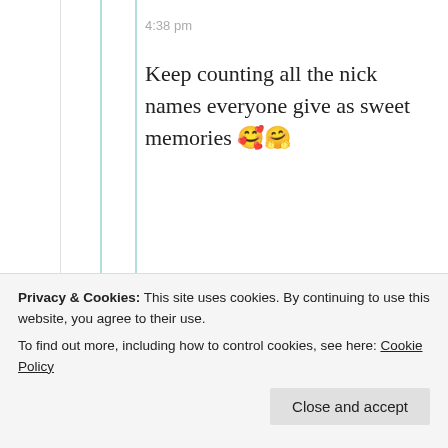4:38 pm
Keep counting all the nick names everyone give as sweet memories 🥰🤗
★ Liked by 1 person
Privacy & Cookies: This site uses cookies. By continuing to use this website, you agree to their use. To find out more, including how to control cookies, see here: Cookie Policy
Close and accept